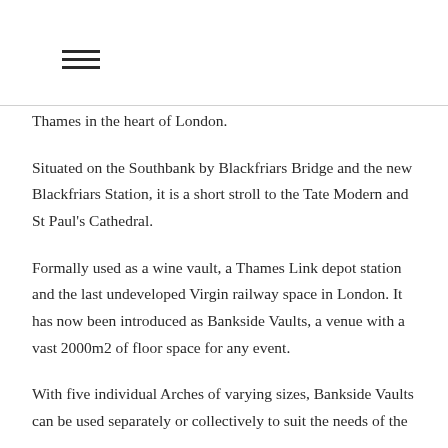☰
Thames in the heart of London.
Situated on the Southbank by Blackfriars Bridge and the new Blackfriars Station, it is a short stroll to the Tate Modern and St Paul's Cathedral.
Formally used as a wine vault, a Thames Link depot station and the last undeveloped Virgin railway space in London. It has now been introduced as Bankside Vaults, a venue with a vast 2000m2 of floor space for any event.
With five individual Arches of varying sizes, Bankside Vaults can be used separately or collectively to suit the needs of the